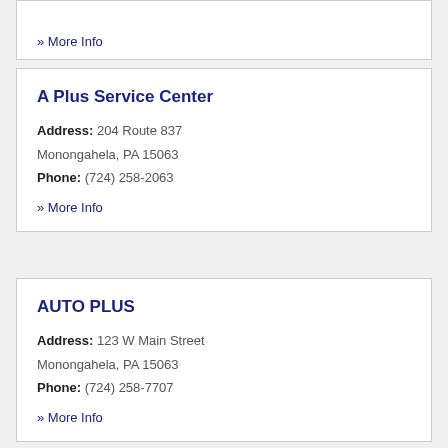» More Info
A Plus Service Center
Address: 204 Route 837
Monongahela, PA 15063
Phone: (724) 258-2063
» More Info
AUTO PLUS
Address: 123 W Main Street
Monongahela, PA 15063
Phone: (724) 258-7707
» More Info